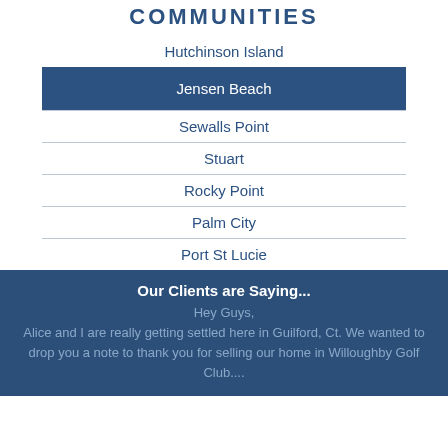COMMUNITIES
Hutchinson Island
Jensen Beach
Sewalls Point
Stuart
Rocky Point
Palm City
Port St Lucie
Our Clients are Saying...
Hey Guys, Alice and I are really getting settled here in Guilford, Ct. We wanted to drop you a note to thank you for selling our home in Willoughby Golf Club....